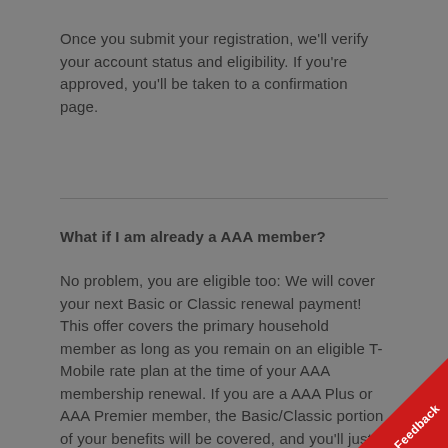Once you submit your registration, we'll verify your account status and eligibility. If you're approved, you'll be taken to a confirmation page.
What if I am already a AAA member?
No problem, you are eligible too: We will cover your next Basic or Classic renewal payment! This offer covers the primary household member as long as you remain on an eligible T-Mobile rate plan at the time of your AAA membership renewal. If you are a AAA Plus or AAA Premier member, the Basic/Classic portion of your benefits will be covered, and you'll just pay the difference.